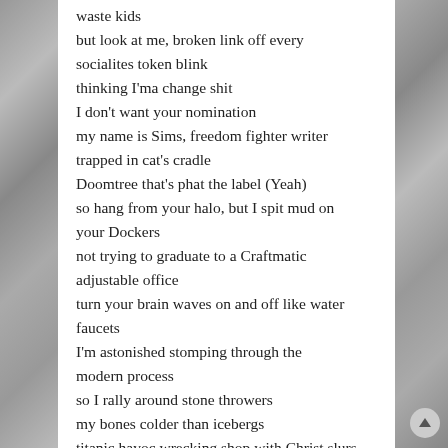waste kids
but look at me, broken link off every
socialites token blink
thinking I'ma change shit
I don't want your nomination
my name is Sims, freedom fighter writer
trapped in cat's cradle
Doomtree that's phat the label (Yeah)
so hang from your halo, but I spit mud on
your Dockers
not trying to graduate to a Craftmatic
adjustable office
turn your brain waves on and off like water
faucets
I'm astonished stomping through the
modern process
so I rally around stone throwers
my bones colder than icebergs
titanic havoc wrecking shop with Christ slurs